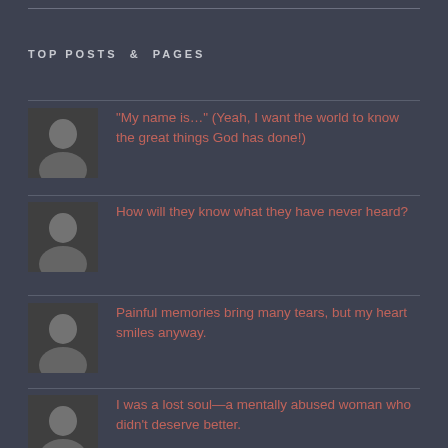TOP POSTS & PAGES
“My name is…” (Yeah, I want the world to know the great things God has done!)
How will they know what they have never heard?
Painful memories bring many tears, but my heart smiles anyway.
I was a lost soul—a mentally abused woman who didn’t deserve better.
A Lost Alcoholic Woman’s Quiet Way to Die